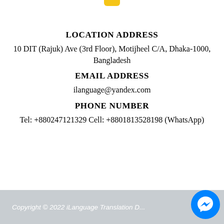[Figure (other): Yellow rounded rectangle tab at top center of page]
LOCATION ADDRESS
10 DIT (Rajuk) Ave (3rd Floor), Motijheel C/A, Dhaka-1000, Bangladesh
EMAIL ADDRESS
ilanguage@yandex.com
PHONE NUMBER
Tel: +880247121329 Cell: +8801813528198 (WhatsApp)
Copyright © 2022 iLanguage Translation D...